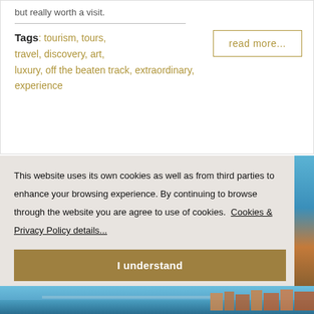but really worth a visit.
read more...
Tags: tourism, tours, travel, discovery, art, luxury, off the beaten track, extraordinary, experience
This website uses its own cookies as well as from third parties to enhance your browsing experience. By continuing to browse through the website you are agree to use of cookies. Cookies & Privacy Policy details...
I understand
[Figure (photo): Coastal Italian town photo strip at bottom of page]